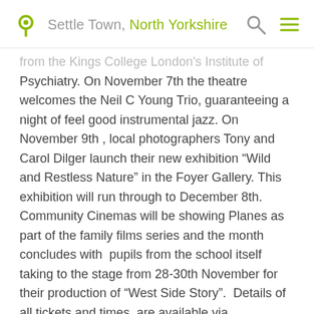Settle Town, North Yorkshire
from the Kings College London's Institute of Psychiatry. On November 7th the theatre welcomes the Neil C Young Trio, guaranteeing a night of feel good instrumental jazz. On November 9th , local photographers Tony and Carol Dilger launch their new exhibition “Wild and Restless Nature” in the Foyer Gallery. This exhibition will run through to December 8th. Community Cinemas will be showing Planes as part of the family films series and the month concludes with  pupils from the school itself taking to the stage from 28-30th November for their production of “West Side Story”.  Details of all tickets and times  are available via www.giggleswick.org.uk/rwt or via 01729